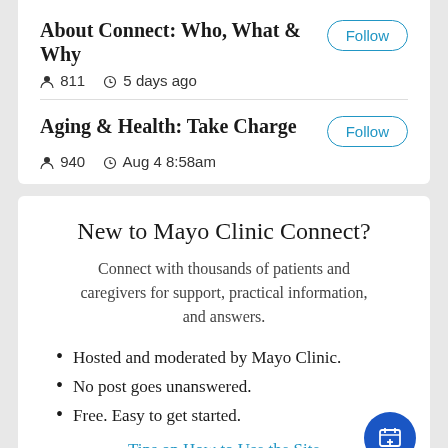About Connect: Who, What & Why
811   5 days ago
Aging & Health: Take Charge
940   Aug 4 8:58am
New to Mayo Clinic Connect?
Connect with thousands of patients and caregivers for support, practical information, and answers.
Hosted and moderated by Mayo Clinic.
No post goes unanswered.
Free. Easy to get started.
Tips on How to Use the Site